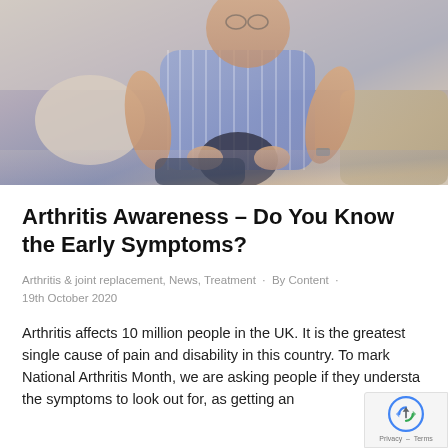[Figure (photo): An elderly man sitting on a couch, holding his knee in pain, wearing a blue striped shirt. The image is muted/faded in tone with beige and blue-grey hues.]
Arthritis Awareness – Do You Know the Early Symptoms?
Arthritis & joint replacement, News, Treatment · By Content · 19th October 2020
Arthritis affects 10 million people in the UK. It is the greatest single cause of pain and disability in this country. To mark National Arthritis Month, we are asking people if they understand the symptoms to look out for, as getting an